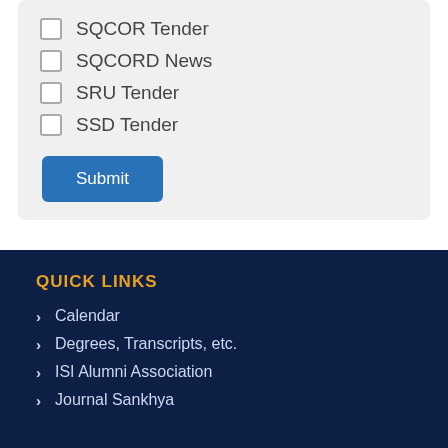SQCOR Tender
SQCORD News
SRU Tender
SSD Tender
Submit
QUICK LINKS
Calendar
Degrees, Transcripts, etc.
ISI Alumni Association
Journal Sankhya